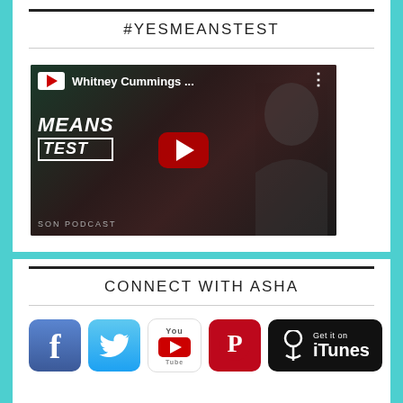#YESMEANSTEST
[Figure (screenshot): YouTube video thumbnail showing Whitney Cummings video with play button, titled 'Whitney Cummings ...' with YouTube interface elements and 'MEANS TEST' text visible in background]
CONNECT WITH ASHA
[Figure (infographic): Social media icons: Facebook, Twitter, YouTube, Pinterest, and Get it on iTunes buttons]